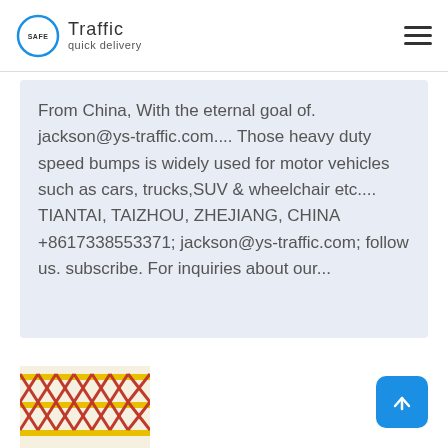Safe Traffic quick delivery
From China, With the eternal goal of. jackson@ys-traffic.com.... Those heavy duty speed bumps is widely used for motor vehicles such as cars, trucks,SUV & wheelchair etc.... TIANTAI, TAIZHOU, ZHEJIANG, CHINA +8617338553371; jackson@ys-traffic.com; follow us. subscribe. For inquiries about our...
[Figure (photo): Expandable barrier/gate product with red and yellow stripes, accordion-style folding metal fence]